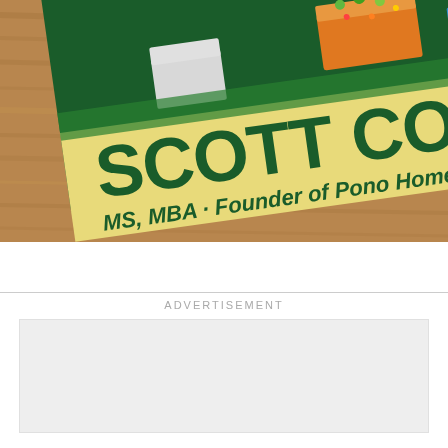[Figure (photo): Photograph of a book cover placed on a wooden surface. The book cover shows a green background with illustrated raised garden beds on top. A yellow/cream banner across the lower portion displays the author name 'SCOTT COONEY' in large bold dark green text, and below it 'MS, MBA · Founder of Pono Home' in smaller italic dark green text.]
ADVERTISEMENT
[Figure (other): Empty light grey advertisement placeholder box]